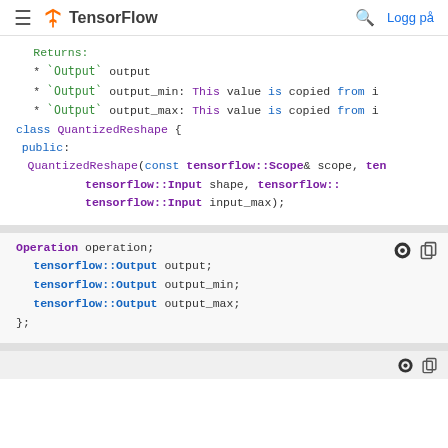TensorFlow — Logg på
Returns:
* `Output` output
* `Output` output_min: This value is copied from i
* `Output` output_max: This value is copied from i
class QuantizedReshape {
 public:
  QuantizedReshape(const tensorflow::Scope& scope, ten
                  tensorflow::Input shape, tensorflow::
                  tensorflow::Input input_max);
Operation operation;
  tensorflow::Output output;
  tensorflow::Output output_min;
  tensorflow::Output output_max;
};